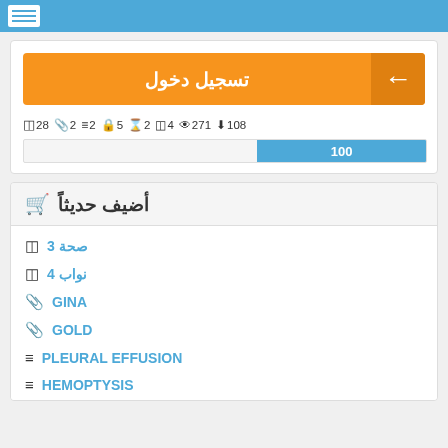Navigation header with menu button
[Figure (screenshot): Orange login/register button with Arabic text 'تسجيل دخول' and white left arrow icon on right side]
28  2  2  5  2  4  271  108
[Figure (other): Progress bar showing value 100 filled from right in blue]
أضيف حديثاً (Recently Added) with cart icon
صحة 3
نواب 4
GINA
GOLD
PLEURAL EFFUSION
HEMOPTYSIS